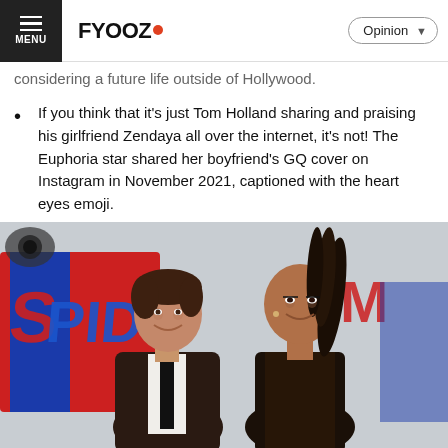MENU | FYOOZ | Opinion
considering a future life outside of Hollywood.
If you think that it's just Tom Holland sharing and praising his girlfriend Zendaya all over the internet, it's not! The Euphoria star shared her boyfriend's GQ cover on Instagram in November 2021, captioned with the heart eyes emoji.
[Figure (photo): Tom Holland and Zendaya posing together at a Spider-Man movie premiere, smiling, with the Spider-Man logo visible in the background.]